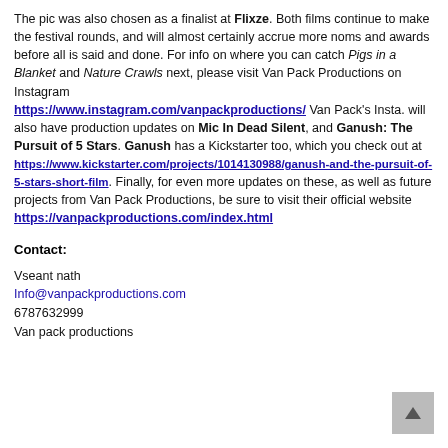The pic was also chosen as a finalist at Flixze. Both films continue to make the festival rounds, and will almost certainly accrue more noms and awards before all is said and done. For info on where you can catch Pigs in a Blanket and Nature Crawls next, please visit Van Pack Productions on Instagram https://www.instagram.com/vanpackproductions/ Van Pack's Insta. will also have production updates on Mic In Dead Silent, and Ganush: The Pursuit of 5 Stars. Ganush has a Kickstarter too, which you check out at https://www.kickstarter.com/projects/1014130988/ganush-and-the-pursuit-of-5-stars-short-film. Finally, for even more updates on these, as well as future projects from Van Pack Productions, be sure to visit their official website https://vanpackproductions.com/index.html
Contact:
Vseant nath
Info@vanpackproductions.com
6787632999
Van pack productions